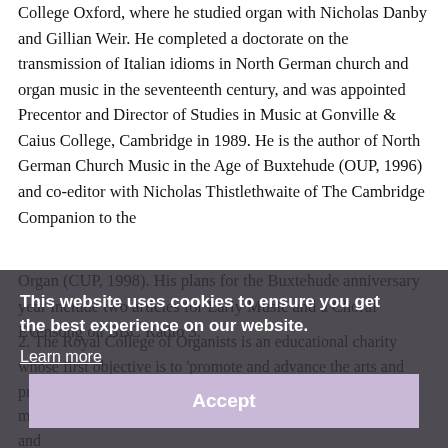College Oxford, where he studied organ with Nicholas Danby and Gillian Weir. He completed a doctorate on the transmission of Italian idioms in North German church and organ music in the seventeenth century, and was appointed Precentor and Director of Studies in Music at Gonville & Caius College, Cambridge in 1989. He is the author of North German Church Music in the Age of Buxtehude (OUP, 1996) and co-editor with Nicholas Thistlethwaite of The Cambridge Companion to the
Organ (CUP, 1998). His plans for the Buxtehude anniversary year include two articles for Early Music and a Choral Evensong on BBC Radio 3.
2. The Royal College of Organists is an educational charity whose first objective is to 'promote and advance the arts and practice of organ playing and choral direction, to set and maintain proper standards and to educate and promote study and
This website uses cookies to ensure you get the best experience on our website.
Learn more
Accept